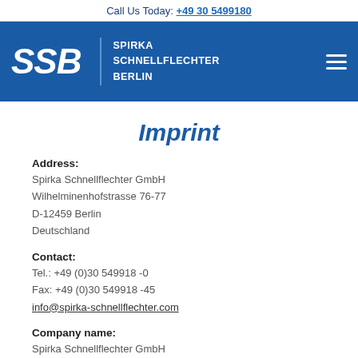Call Us Today: +49 30 5499180
[Figure (logo): SSB Spirka Schnellflechter Berlin logo on blue background with hamburger menu icon]
Imprint
Address:
Spirka Schnellflechter GmbH
Wilhelminenhofstrasse 76-77
D-12459 Berlin
Deutschland
Contact:
Tel.: +49 (0)30 549918 -0
Fax: +49 (0)30 549918 -45
info@spirka-schnellflechter.com
Company name:
Spirka Schnellflechter GmbH
Managing Director:
Johann Erich Wilms